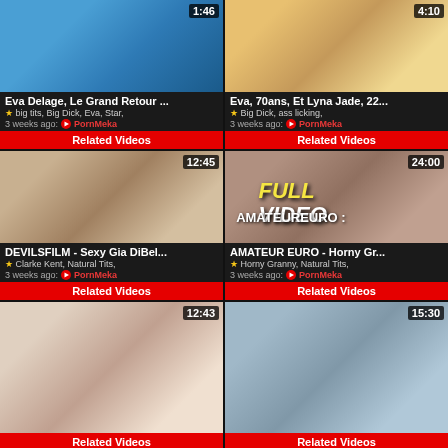[Figure (screenshot): Video thumbnail grid showing adult video content listings with thumbnails, titles, tags, timestamps and Related Videos buttons]
Eva Delage, Le Grand Retour ...
big tits, Big Dick, Eva, Star,
3 weeks ago: PornMeka
Related Videos
Eva, 70ans, Et Lyna Jade, 22...
Big Dick, ass licking,
3 weeks ago: PornMeka
Related Videos
DEVILSFILM - Sexy Gia DiBel...
Clarke Kent, Natural Tits,
3 weeks ago: PornMeka
Related Videos
AMATEUR EURO - Horny Gr...
Horny Granny, Natural Tits,
3 weeks ago: PornMeka
Related Videos
Related Videos
Related Videos